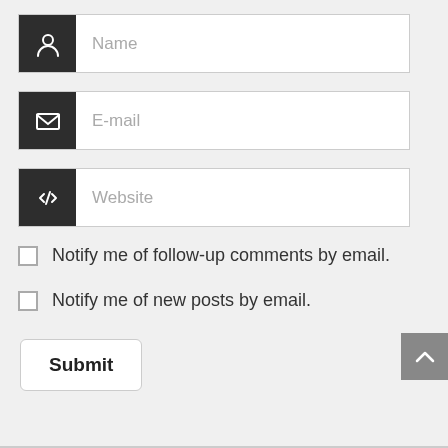[Figure (screenshot): Web comment form with Name, E-mail, Website input fields with dark icon boxes, two checkboxes for email notifications, and a Submit button]
Notify me of follow-up comments by email.
Notify me of new posts by email.
Submit